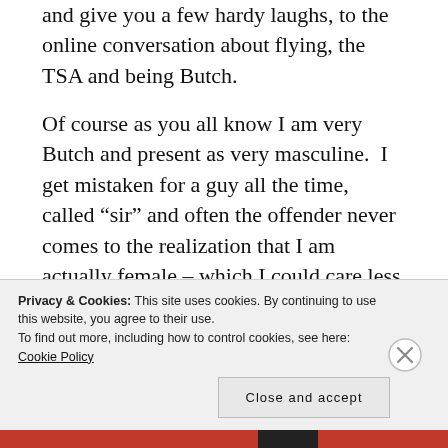and give you a few hardy laughs, to the online conversation about flying, the TSA and being Butch.
Of course as you all know I am very Butch and present as very masculine.  I get mistaken for a guy all the time, called “sir” and often the offender never comes to the realization that I am actually female – which I could care less about anyway.  I get a chuckle out
Privacy & Cookies: This site uses cookies. By continuing to use this website, you agree to their use.
To find out more, including how to control cookies, see here: Cookie Policy
Close and accept